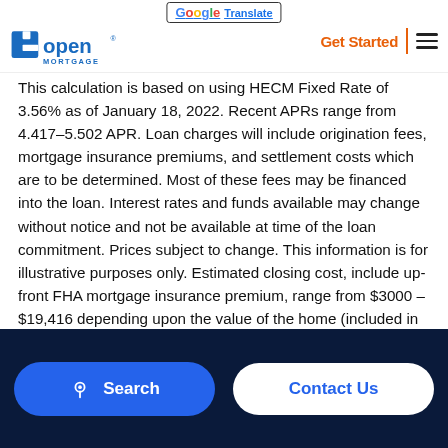Open Mortgage | Translate | Get Started
This calculation is based on using HECM Fixed Rate of 3.56% as of January 18, 2022. Recent APRs range from 4.417–5.502 APR. Loan charges will include origination fees, mortgage insurance premiums, and settlement costs which are to be determined. Most of these fees may be financed into the loan. Interest rates and funds available may change without notice and not be available at time of the loan commitment. Prices subject to change. This information is for illustrative purposes only. Estimated closing cost, include up-front FHA mortgage insurance premium, range from $3000 – $19,416 depending upon the value of the home (included in mortgage). Closing costs vary from state to state and can affect out-of-pocket cost. Please check with your HECM Loan Officer for actual figures. Your loan balance and accrued interest will become due upon a
Search | Contact Us